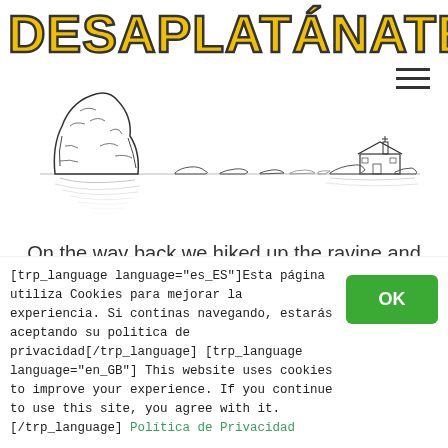DESAPLATÁNATE
NAV
[Figure (illustration): Black and white ink sketch of a coastal rocky landscape with a large rock formation on the left, smaller rocks and a shoreline in the middle, and a small building/lighthouse on the right.]
On the way back we hiked up the ravine and saw
[trp_language language="es_ES"]Esta página utiliza Cookies para mejorar la experiencia. Si continas navegando, estarás aceptando su politica de privacidad[/trp_language] [trp_language language="en_GB"] This website uses cookies to improve your experience. If you continue to use this site, you agree with it. [/trp_language] Política de Privacidad